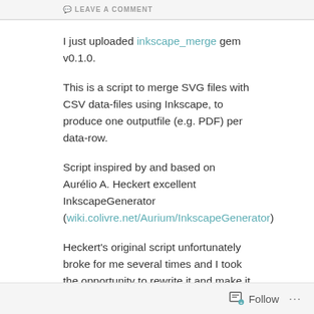LEAVE A COMMENT
I just uploaded inkscape_merge gem v0.1.0.
This is a script to merge SVG files with CSV data-files using Inkscape, to produce one outputfile (e.g. PDF) per data-row.
Script inspired by and based on Aurélio A. Heckert excellent InkscapeGenerator (wiki.colivre.net/Aurium/InkscapeGenerator)
Heckert's original script unfortunately broke for me several times and I took the opportunity to rewrite it and make it more extendable for future.
Follow ...